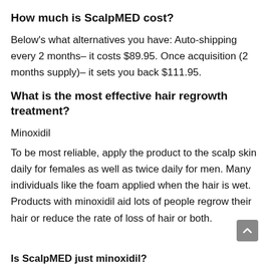How much is ScalpMED cost?
Below's what alternatives you have: Auto-shipping every 2 months– it costs $89.95. Once acquisition (2 months supply)– it sets you back $111.95.
What is the most effective hair regrowth treatment?
Minoxidil
To be most reliable, apply the product to the scalp skin daily for females as well as twice daily for men. Many individuals like the foam applied when the hair is wet. Products with minoxidil aid lots of people regrow their hair or reduce the rate of loss of hair or both.
Is ScalpMED just minoxidil?